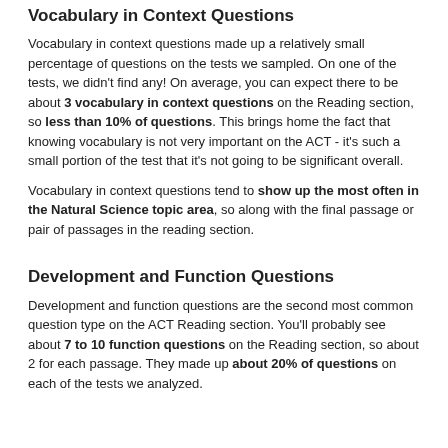Vocabulary in Context Questions
Vocabulary in context questions made up a relatively small percentage of questions on the tests we sampled. On one of the tests, we didn't find any! On average, you can expect there to be about 3 vocabulary in context questions on the Reading section, so less than 10% of questions. This brings home the fact that knowing vocabulary is not very important on the ACT - it's such a small portion of the test that it's not going to be significant overall.
Vocabulary in context questions tend to show up the most often in the Natural Science topic area, so along with the final passage or pair of passages in the reading section.
Development and Function Questions
Development and function questions are the second most common question type on the ACT Reading section. You'll probably see about 7 to 10 function questions on the Reading section, so about 2 for each passage. They made up about 20% of questions on each of the tests we analyzed.